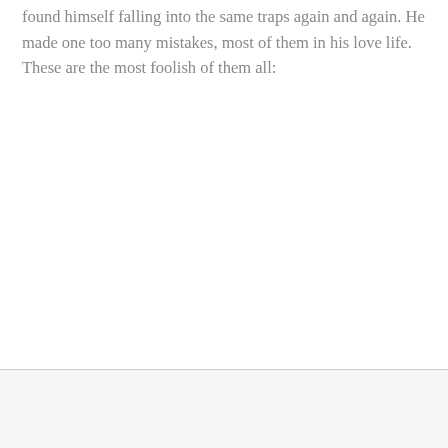found himself falling into the same traps again and again. He made one too many mistakes, most of them in his love life. These are the most foolish of them all: